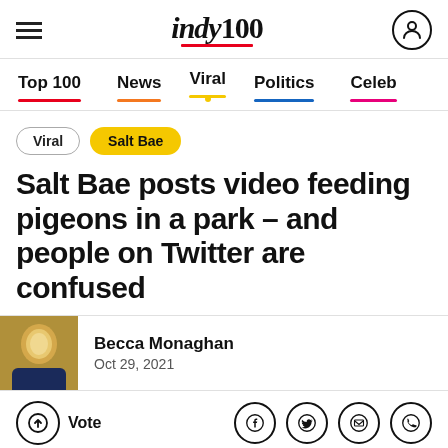indy100
Top 100 | News | Viral | Politics | Celeb
Viral
Salt Bae
Salt Bae posts video feeding pigeons in a park – and people on Twitter are confused
Becca Monaghan
Oct 29, 2021
Vote
[Figure (photo): Dark photo with @gemmacollins/Instagram caption at bottom left, viral news image strip]